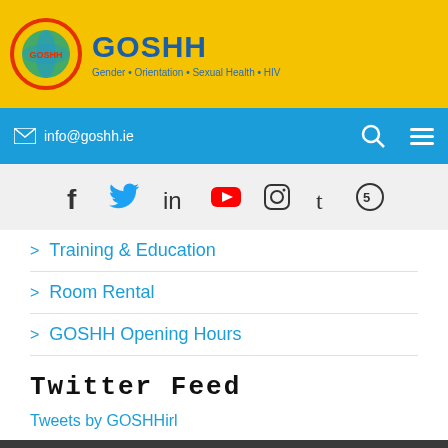GOSHH — Gender • Orientation • Sexual Health • HIV
info@goshh.ie
[Figure (infographic): Social media icons: Facebook, Twitter, LinkedIn, YouTube, Instagram, Tumblr, 500px]
Training & Education
Room Rental
GOSHH Opening Hours
Twitter Feed
Tweets by GOSHHirl
GOSHH Ireland CLG, Trading as GOSHH
Redwood Place, 18 Day Place, Limerick.
V94 K377.